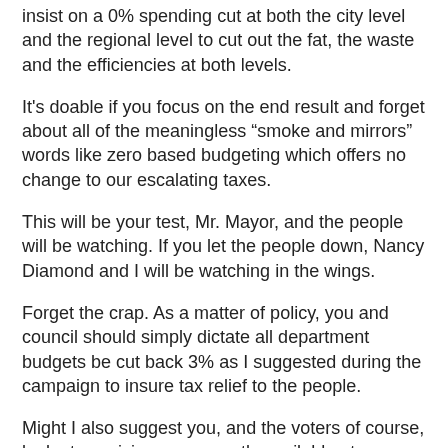insist on a 0% spending cut at both the city level and the regional level to cut out the fat, the waste and the efficiencies at both levels.
It's doable if you focus on the end result and forget about all of the meaningless “smoke and mirrors” words like zero based budgeting which offers no change to our escalating taxes.
This will be your test, Mr. Mayor, and the people will be watching. If you let the people down, Nancy Diamond and I will be watching in the wings.
Forget the crap. As a matter of policy, you and council should simply dictate all department budgets be cut back 3% as I suggested during the campaign to insure tax relief to the people.
Might I also suggest you, and the voters of course, look at my vision permanently available at www.wepromise.ca. This may give you some ideas to start implementing direction in your leadership of this city.